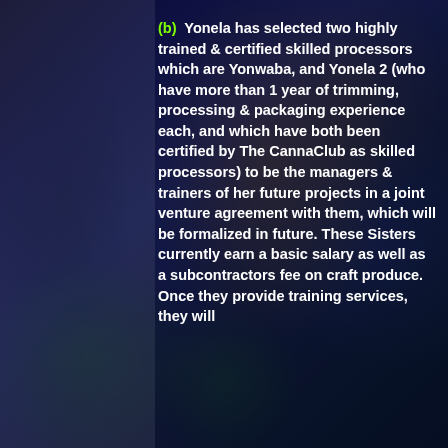(b) Yonela has selected two highly trained & certified skilled processors which are Yonwaba, and Yonela 2 (who have more than 1 year of trimming, processing & packaging experience each, and which have both been certified by The CannaClub as skilled processors) to be the managers & trainers of her future projects in a joint venture agreement with them, which will be formalized in future. These Sisters currently earn a basic salary as well as a subcontractors fee on craft produce. Once they provide training services, they will